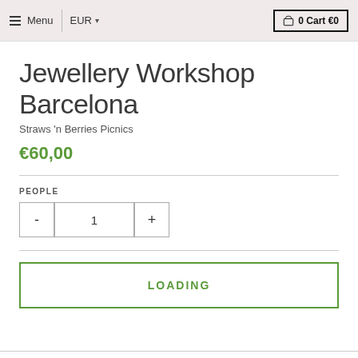Menu | EUR ▾  0 Cart €0
Jewellery Workshop Barcelona
Straws 'n Berries Picnics
€60,00
PEOPLE
- 1 +
LOADING